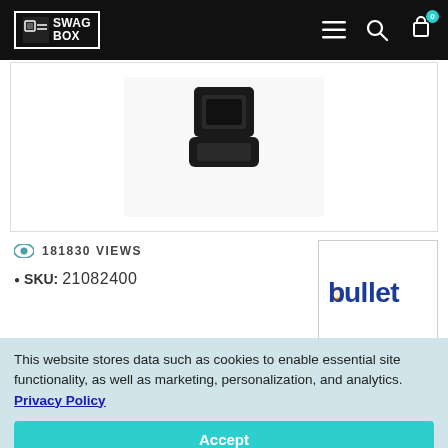SWAG BOX
[Figure (photo): Product photo of a black plastic item (cable organizer/clip) on white background]
181830 VIEWS
SKU: 21082400
[Figure (logo): Bullet brand logo - blue text 'bullet' with orange dot on 'b']
This website stores data such as cookies to enable essential site functionality, as well as marketing, personalization, and analytics. Privacy Policy
Accept
Deny
250 or more £1.41
500 or more £1.01
1000 or more £0.85
2500 or more £0.70